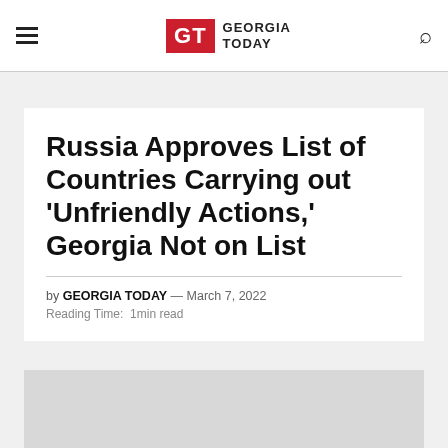GT GEORGIA TODAY
Russia Approves List of Countries Carrying out 'Unfriendly Actions,' Georgia Not on List
by GEORGIA TODAY — March 7, 2022
Reading Time: 1min read
[Figure (photo): Partial image area at the bottom of the article card, showing a gray/light-toned cropped image]